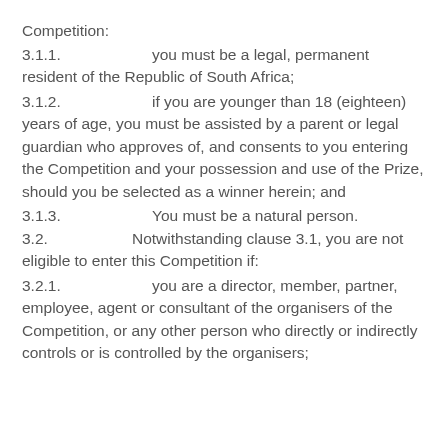Competition:
3.1.1.		you must be a legal, permanent resident of the Republic of South Africa;
3.1.2.		if you are younger than 18 (eighteen) years of age, you must be assisted by a parent or legal guardian who approves of, and consents to you entering the Competition and your possession and use of the Prize, should you be selected as a winner herein; and
3.1.3.		You must be a natural person.
3.2.		Notwithstanding clause 3.1, you are not eligible to enter this Competition if:
3.2.1.		you are a director, member, partner, employee, agent or consultant of the organisers of the Competition, or any other person who directly or indirectly controls or is controlled by the organisers;